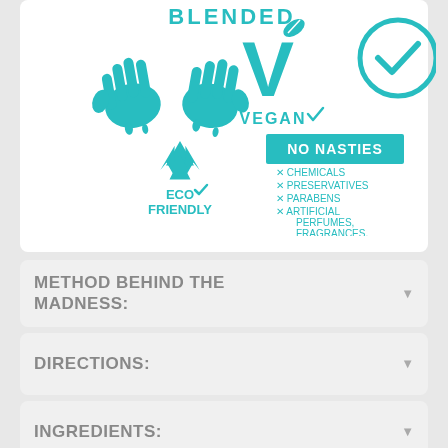[Figure (infographic): Product certifications infographic showing: BLENDED text at top, two teal hand icons (hand-blended), a large teal V with leaf (Vegan checkmark), a teal circle with checkmark, a teal recycling symbol with ECO FRIENDLY checkmark, and NO NASTIES box listing: X CHEMICALS, X PRESERVATIVES, X PARABENS, X ARTIFICIAL PERFUMES, FRAGRANCES, OR COLOURS]
METHOD BEHIND THE MADNESS:
DIRECTIONS:
INGREDIENTS:
SPECIAL NOTES: